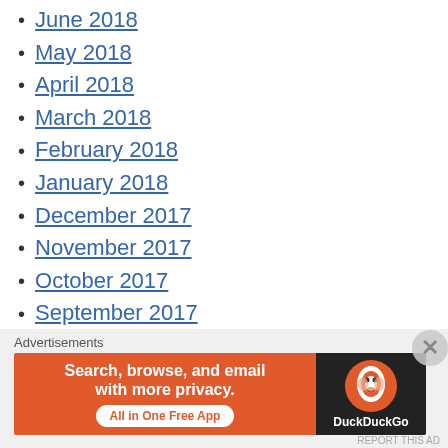June 2018
May 2018
April 2018
March 2018
February 2018
January 2018
December 2017
November 2017
October 2017
September 2017
August 2017
July 2017
June 2017
Advertisements
[Figure (screenshot): DuckDuckGo advertisement banner: orange background with text 'Search, browse, and email with more privacy.' and 'All in One Free App' button, with DuckDuckGo logo on dark right panel.]